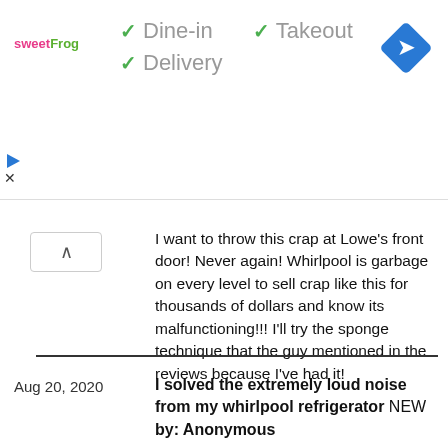[Figure (screenshot): Ad banner showing sweetFrog logo with checkmarks for Dine-in, Takeout, Delivery options and a blue navigation/directions diamond icon]
I want to throw this crap at Lowe's front door! Never again! Whirlpool is garbage on every level to sell crap like this for thousands of dollars and know its malfunctioning!!! I'll try the sponge technique that the guy mentioned in the reviews because I've had it!
Aug 20, 2020  I solved the extremely loud noise from my whirlpool refrigerator NEW by: Anonymous
The repairman couldn't fix it. He said to put a carpet under our refrigerator.
But I solved the mystery. Whirlpool should pay me since a number of people returned their refrigerators because of the "drive you absolutely insane" noise.